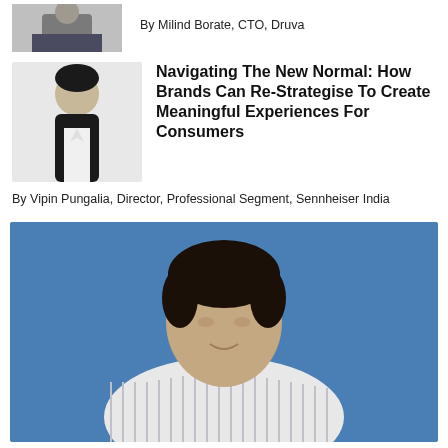[Figure (photo): Partial cropped photo of a person in a suit at the top left corner]
By Milind Borate, CTO, Druva
[Figure (photo): Photo of Vipin Pungalia, a man in a black suit with white shirt, against a light background]
Navigating The New Normal: How Brands Can Re-Strategise To Create Meaningful Experiences For Consumers
By Vipin Pungalia, Director, Professional Segment, Sennheiser India
[Figure (photo): Large photo of a man in a striped shirt against a blue background, smiling, from chest up]